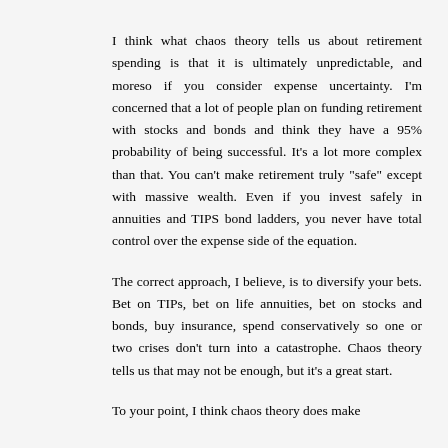I think what chaos theory tells us about retirement spending is that it is ultimately unpredictable, and moreso if you consider expense uncertainty. I'm concerned that a lot of people plan on funding retirement with stocks and bonds and think they have a 95% probability of being successful. It's a lot more complex than that. You can't make retirement truly "safe" except with massive wealth. Even if you invest safely in annuities and TIPS bond ladders, you never have total control over the expense side of the equation.
The correct approach, I believe, is to diversify your bets. Bet on TIPs, bet on life annuities, bet on stocks and bonds, buy insurance, spend conservatively so one or two crises don't turn into a catastrophe. Chaos theory tells us that may not be enough, but it's a great start.
To your point, I think chaos theory does make